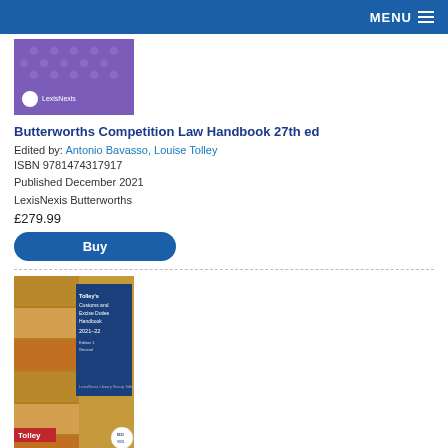MENU
[Figure (photo): Book cover of Butterworths Competition Law Handbook 27th ed — purple background with dots and LexisNexis logo]
Butterworths Competition Law Handbook 27th ed
Edited by: Antonio Bavasso, Louise Tolley
ISBN 9781474317917
Published December 2021
LexisNexis Butterworths
£279.99
Buy
[Figure (photo): Book cover of Tolley's Customs and Excise Duties Handbook 2021-22 — shipping containers background with blue overlay panel, Tolley red label at bottom]
Tolley's Customs and Excise Duties Handbook Set 2021-22